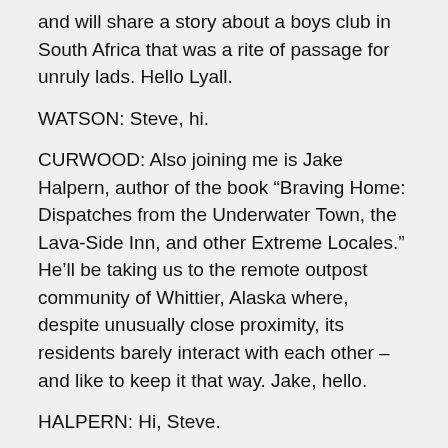and will share a story about a boys club in South Africa that was a rite of passage for unruly lads. Hello Lyall.
WATSON: Steve, hi.
CURWOOD: Also joining me is Jake Halpern, author of the book “Braving Home: Dispatches from the Underwater Town, the Lava-Side Inn, and other Extreme Locales.” He’ll be taking us to the remote outpost community of Whittier, Alaska where, despite unusually close proximity, its residents barely interact with each other – and like to keep it that way. Jake, hello.
HALPERN: Hi, Steve.
CURWOOD: Finally, Judy Blunt teaches English at the University of Montana at Missoula. Her memoir about life on the open plains of Montana is called “Breaking Clean.” Judy, welcome.